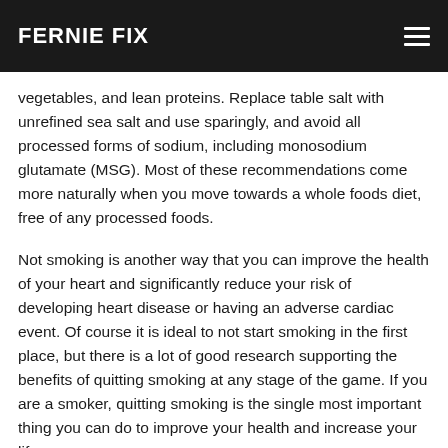FERNIE FIX
vegetables, and lean proteins. Replace table salt with unrefined sea salt and use sparingly, and avoid all processed forms of sodium, including monosodium glutamate (MSG). Most of these recommendations come more naturally when you move towards a whole foods diet, free of any processed foods.
Not smoking is another way that you can improve the health of your heart and significantly reduce your risk of developing heart disease or having an adverse cardiac event. Of course it is ideal to not start smoking in the first place, but there is a lot of good research supporting the benefits of quitting smoking at any stage of the game. If you are a smoker, quitting smoking is the single most important thing you can do to improve your health and increase your lifespan.
Stress management may be relatively new to the table when discussing cardiovascular disease risk reduction and management, but that makes it no less important to the topic. Managing stress effectively, particularly when you do it through the practice of some meditative or performative